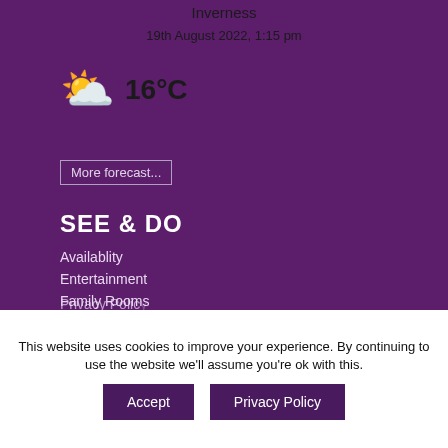Inverness
19th August 2022, 1:15 pm
16°C
More forecast...
SEE & DO
Availablity
Entertainment
Family Rooms
Highlands Golf
This website uses cookies to improve your experience. By continuing to use the website we'll assume you're ok with this.
Accept
Privacy Policy